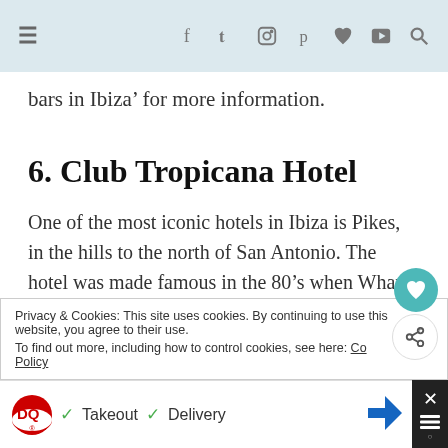≡  f  t  [instagram]  [pinterest]  [heart]  [youtube]  [search]
bars in Ibiza’ for more information.
6. Club Tropicana Hotel
One of the most iconic hotels in Ibiza is Pikes, in the hills to the north of San Antonio. The hotel was made famous in the 80’s when Wham! shot their Club Tropicana music video here in the
Privacy & Cookies: This site uses cookies. By continuing to use this website, you agree to their use.
To find out more, including how to control cookies, see here: Cookie Policy
[Figure (other): Bottom advertisement banner for Dairy Queen showing DQ logo, checkmarks for Takeout and Delivery, a navigation arrow icon, and a close button with X]